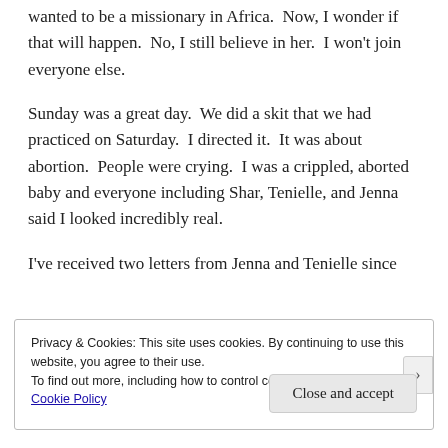wanted to be a missionary in Africa.  Now, I wonder if that will happen.  No, I still believe in her.  I won't join everyone else.
Sunday was a great day.  We did a skit that we had practiced on Saturday.  I directed it.  It was about abortion.  People were crying.  I was a crippled, aborted baby and everyone including Shar, Tenielle, and Jenna said I looked incredibly real.
I've received two letters from Jenna and Tenielle since
Privacy & Cookies: This site uses cookies. By continuing to use this website, you agree to their use.
To find out more, including how to control cookies, see here:
Cookie Policy

Close and accept